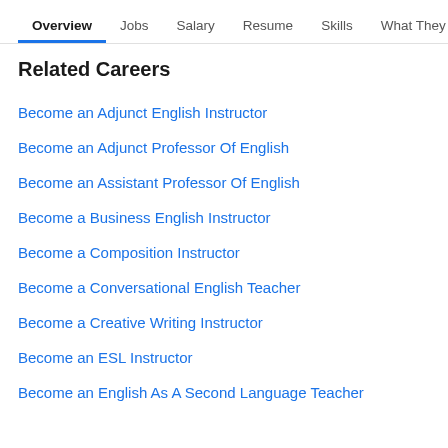Overview  Jobs  Salary  Resume  Skills  What They >
Related Careers
Become an Adjunct English Instructor
Become an Adjunct Professor Of English
Become an Assistant Professor Of English
Become a Business English Instructor
Become a Composition Instructor
Become a Conversational English Teacher
Become a Creative Writing Instructor
Become an ESL Instructor
Become an English As A Second Language Teacher